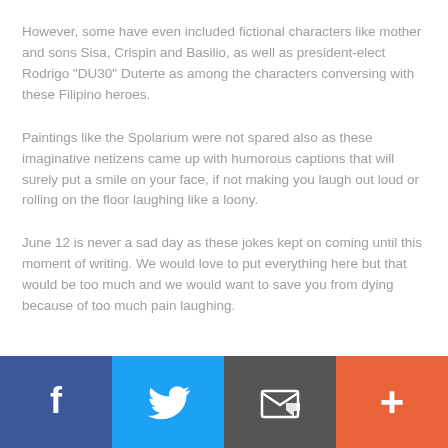However, some have even included fictional characters like mother and sons Sisa, Crispin and Basilio, as well as president-elect Rodrigo "DU30" Duterte as among the characters conversing with these Filipino heroes.
Paintings like the Spolarium were not spared also as these imaginative netizens came up with humorous captions that will surely put a smile on your face, if not making you laugh out loud or rolling on the floor laughing like a loony.
June 12 is never a sad day as these jokes kept on coming until this moment of writing. We would love to put everything here but that would be too much and we would want to save you from dying because of too much pain laughing.
[Figure (infographic): Social sharing bar with four buttons: Facebook (blue), Twitter (light blue), Email (dark gray), Plus/More (orange-red)]